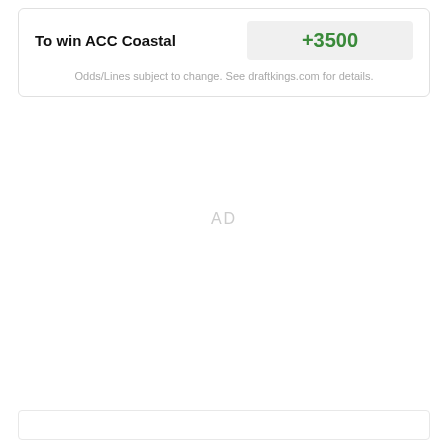| To win ACC Coastal |  |
| --- | --- |
| +3500 |  |
Odds/Lines subject to change. See draftkings.com for details.
AD